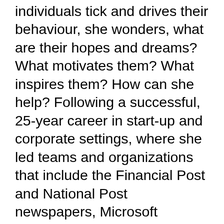individuals tick and drives their behaviour, she wonders, what are their hopes and dreams? What motivates them? What inspires them? How can she help? Following a successful, 25-year career in start-up and corporate settings, where she led teams and organizations that include the Financial Post and National Post newspapers, Microsoft Advertising, digital media company, Olive Media, and Toronto-based, tech-start-up Tribal Scale, she found herself ready to leave leading someone else's business, and set out on her own, doing what she loves and what has always fuelled her. Today, she combines her 20+ years of leading people and businesses, with her skills as a Co-active Coach and training in Positive Intelligence, to help leaders become values-led and